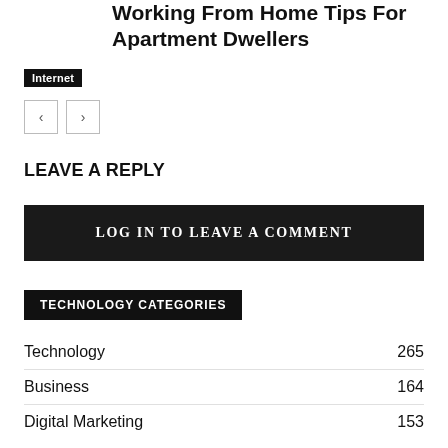Working From Home Tips For Apartment Dwellers
Internet
[Figure (other): Navigation previous and next arrow buttons]
LEAVE A REPLY
LOG IN TO LEAVE A COMMENT
TECHNOLOGY CATEGORIES
Technology  265
Business  164
Digital Marketing  153